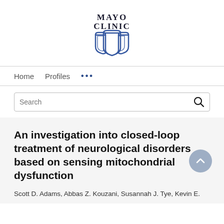[Figure (logo): Mayo Clinic logo with text 'MAYO CLINIC' above a shield/crest emblem in dark blue]
Home   Profiles   ...
Search
An investigation into closed-loop treatment of neurological disorders based on sensing mitochondrial dysfunction
Scott D. Adams, Abbas Z. Kouzani, Susannah J. Tye, Kevin E.